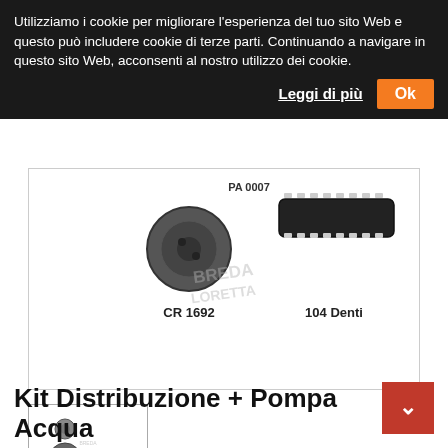Utilizziamo i cookie per migliorare l’esperienza del tuo sito Web e questo può includere cookie di terze parti. Continuando a navigare in questo sito Web, acconsenti al nostro utilizzo dei cookie.
Leggi di più
Ok
[Figure (photo): Product image showing a timing belt kit with pulley (CR 1692), tensioner/idler, and timing belt (104 Denti). Breda Loretta watermark visible. Part number PA 0007 shown at top.]
[Figure (photo): Small thumbnail image showing the same timing belt kit with water pump, tensioner pulley, and belt.]
Kit Distribuzione + Pompa Acqua